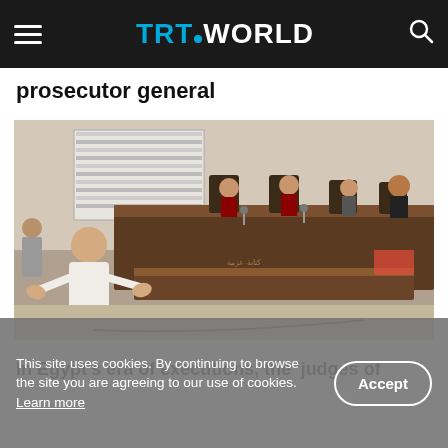TRT WORLD
prosecutor general
[Figure (photo): Courtroom scene showing a man in white clothing gesturing with his hands toward judges seated behind a large wooden bench, with other officials and security personnel present.]
In Egypt's era of executions, the 'judges of
This site uses cookies. By continuing to browse the site you are agreeing to our use of cookies. Learn more